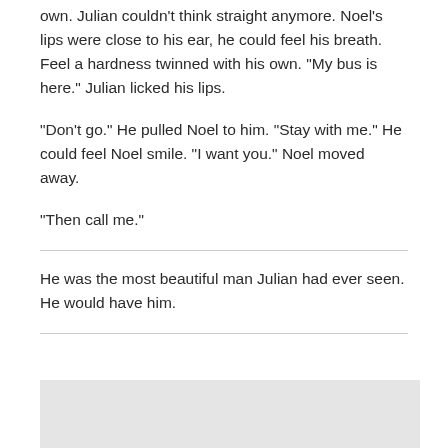own. Julian couldn't think straight anymore. Noel's lips were close to his ear, he could feel his breath. Feel a hardness twinned with his own. "My bus is here." Julian licked his lips.
"Don't go." He pulled Noel to him. "Stay with me." He could feel Noel smile. "I want you." Noel moved away.
"Then call me."
He was the most beautiful man Julian had ever seen. He would have him.
[Figure (other): Gray rectangular box at bottom of page]